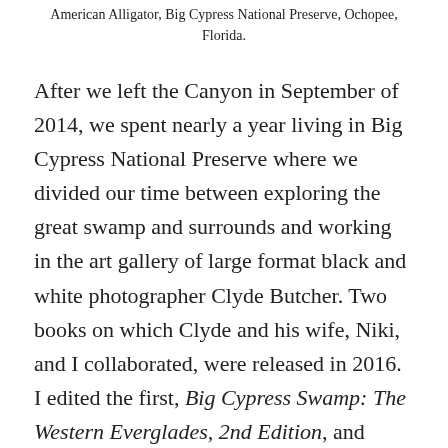American Alligator, Big Cypress National Preserve, Ochopee, Florida.
After we left the Canyon in September of 2014, we spent nearly a year living in Big Cypress National Preserve where we divided our time between exploring the great swamp and surrounds and working in the art gallery of large format black and white photographer Clyde Butcher. Two books on which Clyde and his wife, Niki, and I collaborated, were released in 2016. I edited the first, Big Cypress Swamp: The Western Everglades, 2nd Edition, and wrote the second, Celebrating America's National Parks, to accompany Clyde's magnificent photographs. The latter volume placed first in the category of “Professional Book-Nature” in the 2017 International Photography Awards